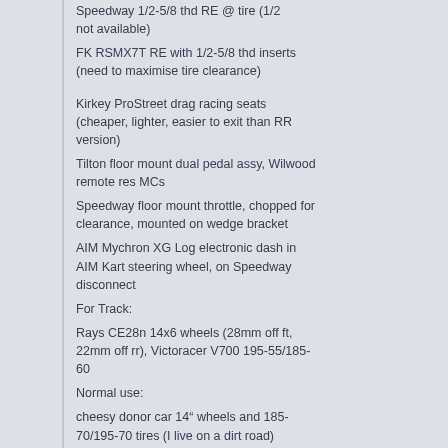Speedway 1/2-5/8 thd RE @ tire (1/2 not available)
FK RSMX7T RE with 1/2-5/8 thd inserts (need to maximise tire clearance)

Kirkey ProStreet drag racing seats (cheaper, lighter, easier to exit than RR version)
Tilton floor mount dual pedal assy, Wilwood remote res MCs
Speedway floor mount throttle, chopped for clearance, mounted on wedge bracket
AIM Mychron XG Log electronic dash in AIM Kart steering wheel, on Speedway disconnect
For Track:
Rays CE28n 14x6 wheels (28mm off ft, 22mm off rr), Victoracer V700 195-55/185-60
Normal use:
cheesy donor car 14” wheels and 185-70/195-70 tires (I live on a dirt road)

some links:

https://www.example.com/some/link